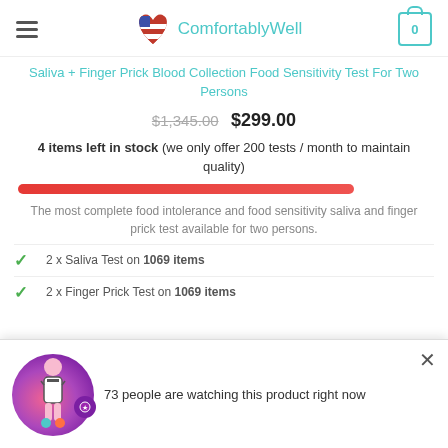ComfortablyWell
Saliva + Finger Prick Blood Collection Food Sensitivity Test For Two Persons
$1,345.00  $299.00
4 items left in stock (we only offer 200 tests / month to maintain quality)
The most complete food intolerance and food sensitivity saliva and finger prick test available for two persons.
2 x Saliva Test on 1069 items
2 x Finger Prick Test on 1069 items
[Figure (infographic): Popup notification showing a woman with purple blob background with text: 73 people are watching this product right now]
FREE! Immune System Booster — Health Pack